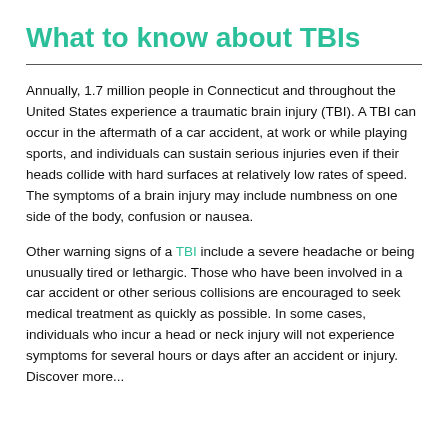What to know about TBIs
Annually, 1.7 million people in Connecticut and throughout the United States experience a traumatic brain injury (TBI). A TBI can occur in the aftermath of a car accident, at work or while playing sports, and individuals can sustain serious injuries even if their heads collide with hard surfaces at relatively low rates of speed. The symptoms of a brain injury may include numbness on one side of the body, confusion or nausea.
Other warning signs of a TBI include a severe headache or being unusually tired or lethargic. Those who have been involved in a car accident or other serious collisions are encouraged to seek medical treatment as quickly as possible. In some cases, individuals who incur a head or neck injury will not experience symptoms for several hours or days after an accident or injury. Discover more...